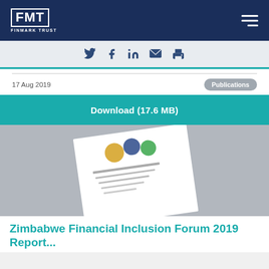FMT FINMARK TRUST
Twitter, Facebook, LinkedIn, Email, Print icons
17 Aug 2019
Publications
Download (17.6 MB)
[Figure (photo): Photo of a printed report document with logos on cover, angled view]
Zimbabwe Financial Inclusion Forum 2019 Report...